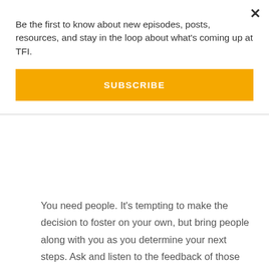Be the first to know about new episodes, posts, resources, and stay in the loop about what's coming up at TFI.
SUBSCRIBE
You need people. It's tempting to make the decision to foster on your own, but bring people along with you as you determine your next steps. Ask and listen to the feedback of those close to you. Share your thoughts. Let them learn with you. Let them in so that they can help you think through this decision. When they do, they will have more buy-in and want to support you. If you wait to share your decision until you've completed all the steps necessary to become a foster parent, be understanding of those you share with, as they haven't had the same time or education as you